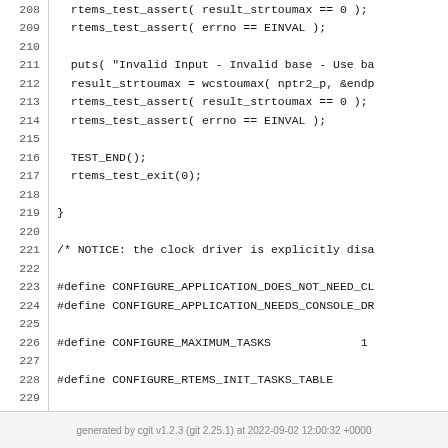Code listing lines 208-233 showing C source code with rtems_test_assert calls, TEST_END, rtems_test_exit, preprocessor defines for CONFIGURE_APPLICATION_DOES_NOT_NEED_CL, CONFIGURE_APPLICATION_NEEDS_CONSOLE_DR, CONFIGURE_MAXIMUM_TASKS, CONFIGURE_RTEMS_INIT_TASKS_TABLE, CONFIGURE_INITIAL_EXTENSIONS, CONFIGURE_INIT, and #include <rtems/confdefs.h>
generated by cgit v1.2.3 (git 2.25.1) at 2022-09-02 12:00:32 +0000